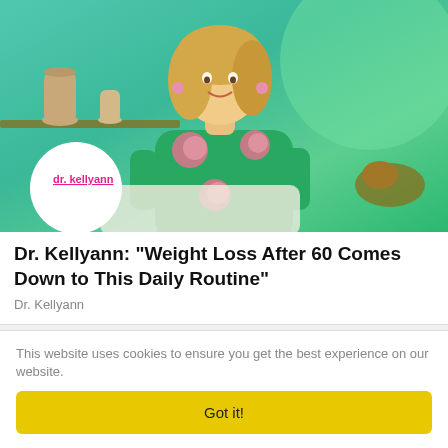[Figure (photo): Woman with blonde hair wearing a green floral blouse seated on a white chair in a TV studio set with teal/green background and decorative vases. Dr. Kellyann logo overlay in bottom left corner.]
Dr. Kellyann: "Weight Loss After 60 Comes Down to This Daily Routine"
Dr. Kellyann
This website uses cookies to ensure you get the best experience on our website.
Got it!